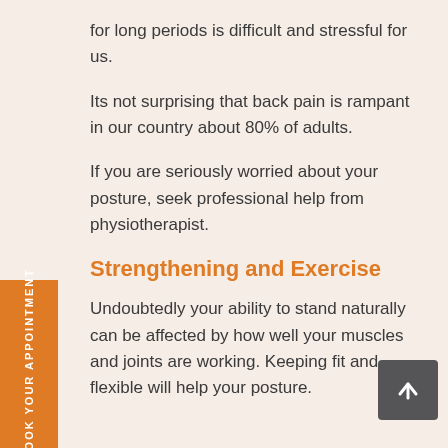for long periods is difficult and stressful for us.
Its not surprising that back pain is rampant in our country about 80% of adults.
If you are seriously worried about your posture, seek professional help from physiotherapist.
Strengthening and Exercise
Undoubtedly your ability to stand naturally can be affected by how well your muscles and joints are working. Keeping fit and flexible will help your posture.